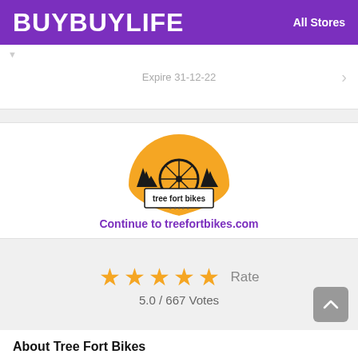BUYBUYLIFE   All Stores
Expire 31-12-22
[Figure (logo): Tree Fort Bikes logo: yellow shield shape with a bicycle wheel in the center, silhouette of pine trees, and text 'tree fort bikes' on a rectangular badge.]
Continue to treefortbikes.com
★★★★★ Rate
5.0 / 667 Votes
About Tree Fort Bikes
Welcome to the Tree Fort Bikes coupons page. Here you will find the latest coupons, discount codes and special offers for Tree Fort Bikes at buybuylife.com. Get the discounts, coupon codes